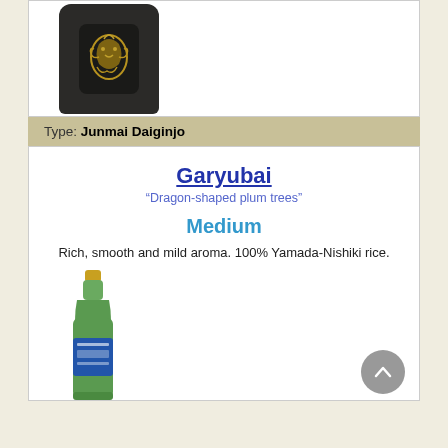[Figure (photo): A dark brown bottle of sake with gold dragon design on a white card background]
Type: Junmai Daiginjo
Garyubai
“Dragon-shaped plum trees”
Medium
Rich, smooth and mild aroma. 100% Yamada-Nishiki rice.
[Figure (photo): A green sake bottle with blue label and gold foil top]